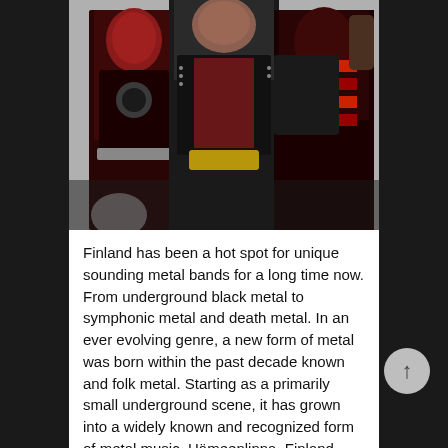[Figure (photo): Three people in elaborate metal band costumes with red and black leather armor, studs, spikes, and red face paint, posed together against a light background.]
Finland has been a hot spot for unique sounding metal bands for a long time now. From underground black metal to symphonic metal and death metal. In an ever evolving genre, a new form of metal was born within the past decade known and folk metal. Starting as a primarily small underground scene, it has grown into a widely known and recognized form of metal music. Hämeenlinna, Finland band Turisas is one such band which